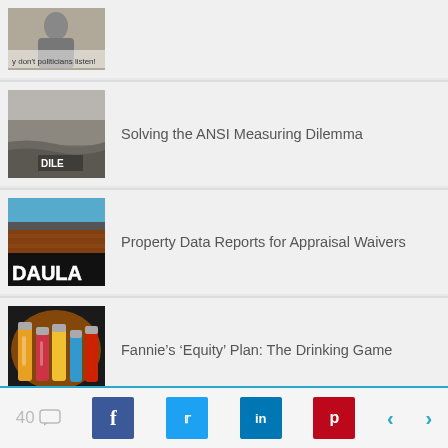[Figure (photo): Partial thumbnail of article with text 'y don't politicians listen!']
[Figure (photo): Black and white ocean/water scene with text 'DILE' visible]
Solving the ANSI Measuring Dilemma
[Figure (photo): Brick building with large graffiti letters 'DAULA']
Property Data Reports for Appraisal Waivers
[Figure (photo): Colorful bottles photo]
Fannie's ‘Equity’ Plan: The Drinking Game
[Figure (photo): Partial bottom thumbnail photo]
Changes from Fannie Mae
40 comments | Facebook | Twitter | LinkedIn | Pinterest | prev | next